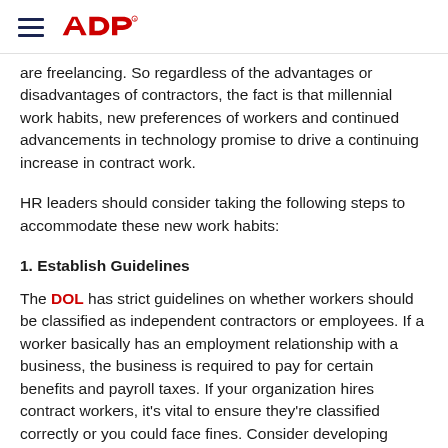ADP logo and navigation
are freelancing. So regardless of the advantages or disadvantages of contractors, the fact is that millennial work habits, new preferences of workers and continued advancements in technology promise to drive a continuing increase in contract work.
HR leaders should consider taking the following steps to accommodate these new work habits:
1. Establish Guidelines
The DOL has strict guidelines on whether workers should be classified as independent contractors or employees. If a worker basically has an employment relationship with a business, the business is required to pay for certain benefits and payroll taxes. If your organization hires contract workers, it's vital to ensure they're classified correctly or you could face fines. Consider developing specific guidelines on how contractors should be managed. For instance, managers should know independent contractors work free